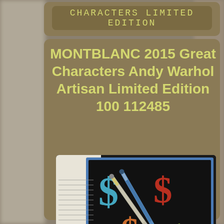CHARACTERS LIMITED EDITION
MONTBLANC 2015 Great Characters Andy Warhol Artisan Limited Edition 100 112485
[Figure (photo): Photo of Montblanc Andy Warhol limited edition pens lying on an open book/artwork featuring colorful pop-art dollar sign ($) symbols in blue, red, orange, and green colors. An eBay watermark is visible at the bottom.]